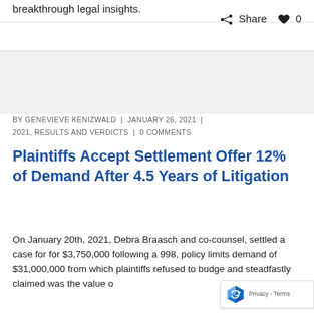breakthrough legal insights.
Share  0
BY GENEVIEVE KENIZWALD  |  JANUARY 26, 2021  |  2021, RESULTS AND VERDICTS  |  0 COMMENTS
Plaintiffs Accept Settlement Offer 12% of Demand After 4.5 Years of Litigation
On January 20th, 2021, Debra Braasch and co-counsel, settled a case for for $3,750,000 following a 998, policy limits demand of $31,000,000 from which plaintiffs refused to budge and steadfastly claimed was the value of this case for more than 3 years. The case